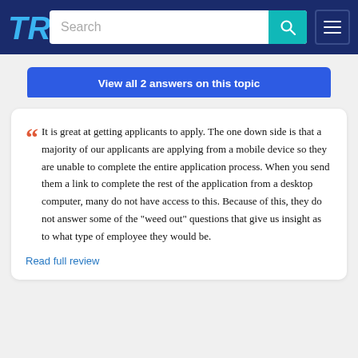[Figure (screenshot): TrustRadius website navigation bar with logo, search bar, and hamburger menu on dark blue background]
View all 2 answers on this topic
It is great at getting applicants to apply. The one down side is that a majority of our applicants are applying from a mobile device so they are unable to complete the entire application process. When you send them a link to complete the rest of the application from a desktop computer, many do not have access to this. Because of this, they do not answer some of the "weed out" questions that give us insight as to what type of employee they would be.
Read full review